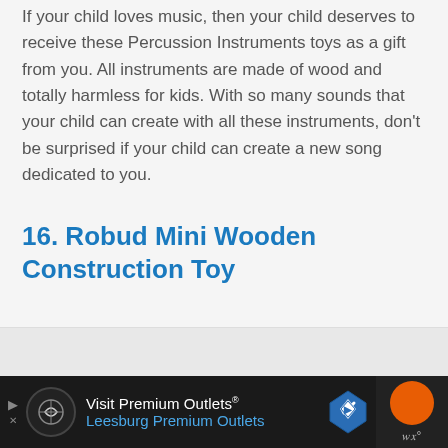If your child loves music, then your child deserves to receive these Percussion Instruments toys as a gift from you. All instruments are made of wood and totally harmless for kids. With so many sounds that your child can create with all these instruments, don't be surprised if your child can create a new song dedicated to you.
16. Robud Mini Wooden Construction Toy
[Figure (photo): Partial image of product, cut off at bottom of page]
Visit Premium Outlets® Leesburg Premium Outlets